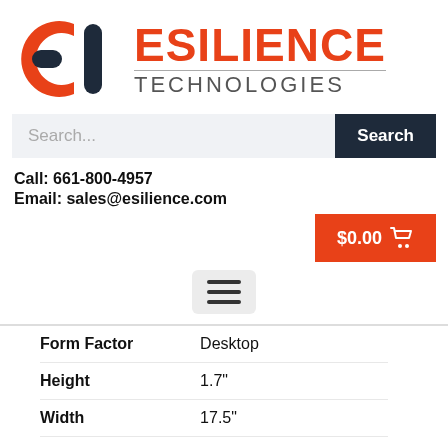[Figure (logo): Esilience Technologies logo with orange stylized 'ET' icon and orange 'ESILIENCE' text with gray 'TECHNOLOGIES' text below]
Search...
Search
Call: 661-800-4957
Email: sales@esilience.com
$0.00
[Figure (other): Hamburger menu icon (three horizontal lines) in a rounded gray box]
| Form Factor | Desktop |
| --- | --- |
| Height | 1.7" |
| Width | 17.5" |
| Depth | 19.1" |